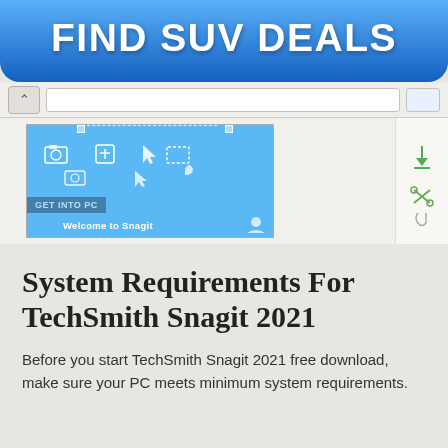[Figure (screenshot): Blue banner advertisement button reading FIND SUV DEALS in bold white text on a blue gradient background with rounded bottom corners]
[Figure (screenshot): Screenshot of a browser window showing TechSmith Snagit software interface with a blue toolbar area, GET INTO PC watermark, and Welcome to Snagit text. A browser navigation bar is partially visible above.]
System Requirements For TechSmith Snagit 2021
Before you start TechSmith Snagit 2021 free download, make sure your PC meets minimum system requirements.